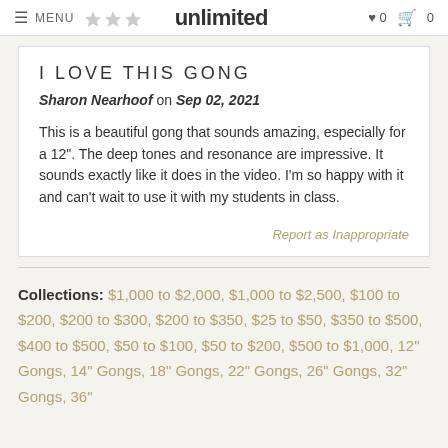MENU | unlimited | 0 | 0
I LOVE THIS GONG
Sharon Nearhoof on Sep 02, 2021
This is a beautiful gong that sounds amazing, especially for a 12". The deep tones and resonance are impressive. It sounds exactly like it does in the video. I'm so happy with it and can't wait to use it with my students in class.
Report as Inappropriate
Collections: $1,000 to $2,000, $1,000 to $2,500, $100 to $200, $200 to $300, $200 to $350, $25 to $50, $350 to $500, $400 to $500, $50 to $100, $50 to $200, $500 to $1,000, 12" Gongs, 14" Gongs, 18" Gongs, 22" Gongs, 26" Gongs, 32" Gongs, 36"